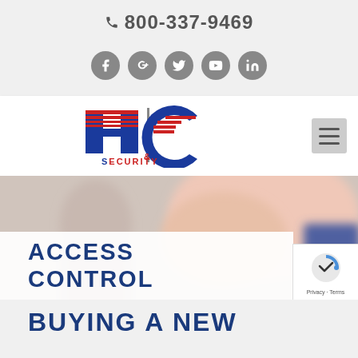📞 800-337-9469
[Figure (infographic): Row of 5 social media icon circles (Facebook, Google+, Twitter, YouTube, LinkedIn) in dark grey]
[Figure (logo): H&C Security Inc. logo with large blue H and C letters with red horizontal stripes]
[Figure (photo): Blurred background image of a person, used as hero section background]
ACCESS CONTROL
BUYING A NEW